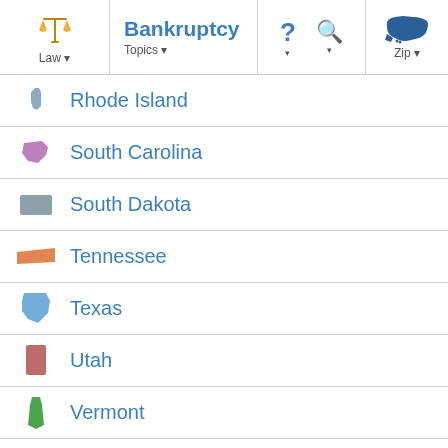Bankruptcy Topics — Law navigation with Zip lookup
Rhode Island
South Carolina
South Dakota
Tennessee
Texas
Utah
Vermont
Virginia
Washington